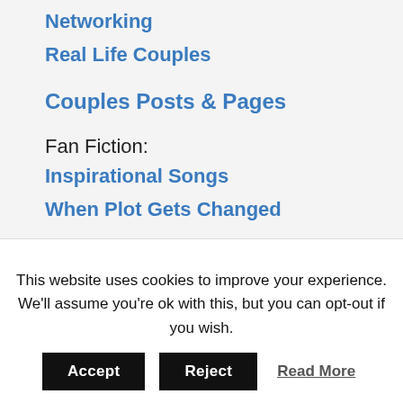Networking
Real Life Couples
Couples Posts & Pages
Fan Fiction:
Inspirational Songs
When Plot Gets Changed
Recommendations:
Movies Recommendations
TV Show Recommendations – Hollywood/Western
Hong Kong TV Series Worth Watching
[partial link cut off]
This website uses cookies to improve your experience. We'll assume you're ok with this, but you can opt-out if you wish.